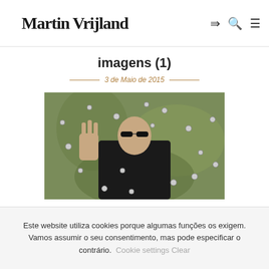Martin Vrijland
imagens (1)
3 de Maio de 2015
[Figure (photo): A man in black clothing and sunglasses holding up one hand in a 'stop' gesture, with small spherical objects (bullets) suspended in mid-air around him against a green-tinted background — reminiscent of a scene from The Matrix.]
Este website utiliza cookies porque algumas funções os exigem. Vamos assumir o seu consentimento, mas pode especificar o contrário. Cookie settingsClear